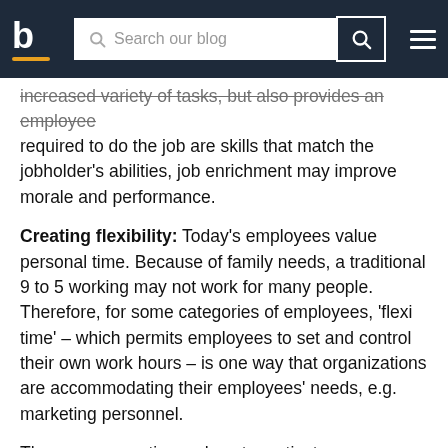b  Search our blog
increased variety of tasks, but also provides an employee with more responsibility and authority. If the skills required to do the job are skills that match the jobholder's abilities, job enrichment may improve morale and performance.
Creating flexibility: Today's employees value personal time. Because of family needs, a traditional 9 to 5 working may not work for many people. Therefore, for some categories of employees, 'flexi time' – which permits employees to set and control their own work hours – is one way that organizations are accommodating their employees' needs, e.g. marketing personnel.
There are many tips on how to motivate your employees. If you would like to learn more, why not download the free